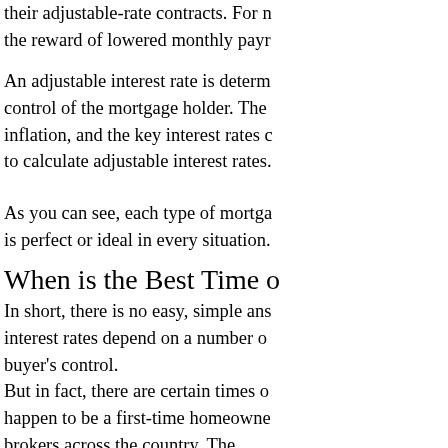their adjustable-rate contracts. For n the reward of lowered monthly payr
An adjustable interest rate is determ control of the mortgage holder. The inflation, and the key interest rates c to calculate adjustable interest rates.
As you can see, each type of mortga is perfect or ideal in every situation.
When is the Best Time o
In short, there is no easy, simple ans interest rates depend on a number o buyer's control.
But in fact, there are certain times o happen to be a first-time homeowne brokers across the country. The...